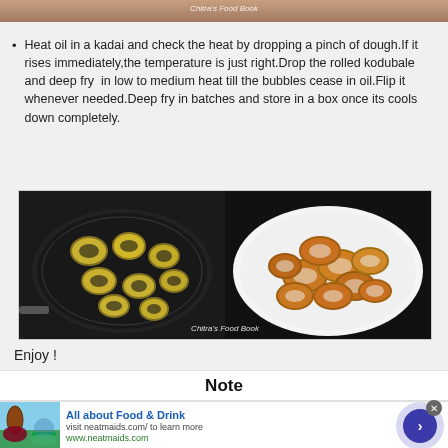[Figure (photo): Partial top strip of a food photo with 'Chitra's Food Book' watermark]
Heat oil in a kadai and check the heat by dropping a pinch of dough.If it rises immediately,the temperature is just right.Drop the rolled kodubale and deep fry in low to medium heat till the bubbles cease in oil.Flip it whenever needed.Deep fry in batches and store in a box once its cools down completely.
[Figure (photo): Two food photos side by side: left shows kodubale rings frying in a dark kadai, right shows fried golden-brown kodubale rings on a white plate. Watermark reads 'Chitra's Food Book'.]
Enjoy !
Note
All about Food & Drink
visit neatmaids.com/ to learn more
www.neatmaids.com